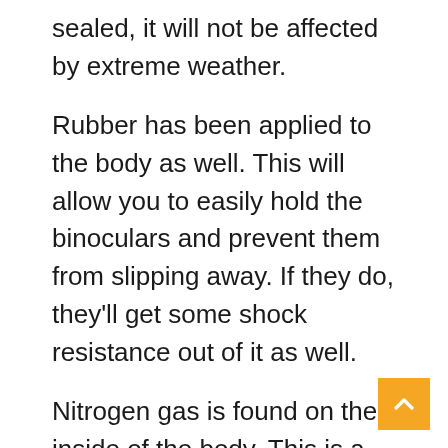sealed, it will not be affected by extreme weather.
Rubber has been applied to the body as well. This will allow you to easily hold the binoculars and prevent them from slipping away. If they do, they'll get some shock resistance out of it as well.
Nitrogen gas is found on the inside of the body. This is a must if you'll be using the binoculars in humid conditions, as it will prevent the inside of the lens from fogging up, which can ruin your experience. A compass is also included as a bonus feature on the binoculars.
The binoculars have a rangefinder as well, a both have an illumination switch (along with the compass). You can still use the binoculars if you